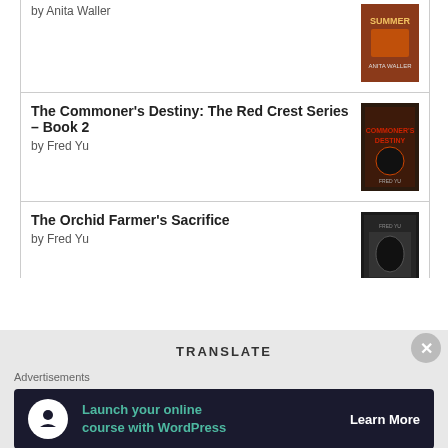by Anita Waller
The Commoner's Destiny: The Red Crest Series – Book 2
by Fred Yu
The Orchid Farmer's Sacrifice
by Fred Yu
[Figure (logo): goodreads logo button]
TRANSLATE
Advertisements
[Figure (infographic): Advertisement banner: Launch your online course with WordPress - Learn More]